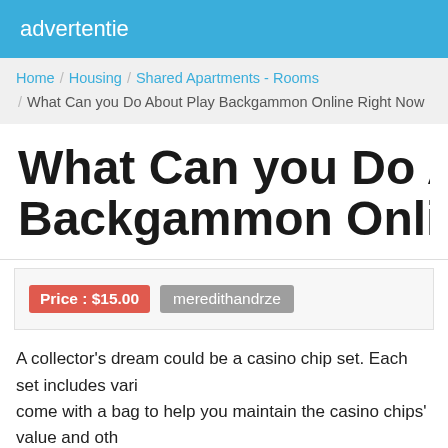advertentie
Home / Housing / Shared Apartments - Rooms / What Can you Do About Play Backgammon Online Right Now
What Can you Do About Play Backgammon Online Right Now
Price : $15.00   meredithandrze
A collector's dream could be a casino chip set. Each set includes vari... come with a bag to help you maintain the casino chips' value and oth... (www.onlinecasinosforaustralians.com). Find rare chips with high valu... on auctions for months and waiting for the right time.